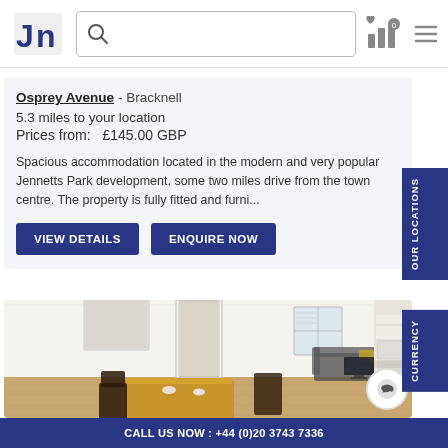Navigation bar with logo, search box, and icons
Osprey Avenue - Bracknell
5.3 miles to your location
Prices from: £145.00 GBP
Spacious accommodation located in the modern and very popular Jennetts Park development, some two miles drive from the town centre. The property is fully fitted and furni...
VIEW DETAILS
ENQUIRE NOW
[Figure (photo): Interior photo of a modern furnished apartment showing a dining area with wooden table and dark chairs, open-plan living room with sofa, TV, and kitchen area with white units]
CALL US NOW : +44 (0)20 3743 7336